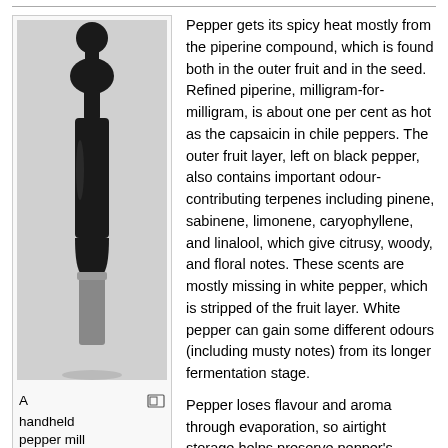[Figure (photo): A handheld pepper mill, black with silver base, photographed against a light background]
A handheld pepper mill
Pepper gets its spicy heat mostly from the piperine compound, which is found both in the outer fruit and in the seed. Refined piperine, milligram-for-milligram, is about one per cent as hot as the capsaicin in chile peppers. The outer fruit layer, left on black pepper, also contains important odour-contributing terpenes including pinene, sabinene, limonene, caryophyllene, and linalool, which give citrusy, woody, and floral notes. These scents are mostly missing in white pepper, which is stripped of the fruit layer. White pepper can gain some different odours (including musty notes) from its longer fermentation stage.
Pepper loses flavour and aroma through evaporation, so airtight storage helps preserve pepper's original spiciness longer. Pepper can also lose flavour when exposed to light, which can transform piperine into nearly tasteless isochavicine. Once ground, pepper's aromatics can evaporate quickly; most culinary sources recommend grinding whole peppercorns immediately before use for this reason. Handheld pepper mills (or pepper grinders), which mechanically grind or crush whole peppercorns, are used for this, sometimes instead of pepper shakers, dispensers of pre-ground pepper. Spice mills such as pepper mills were found in European kitchens as early as the 14th century, but the mortar and pestle